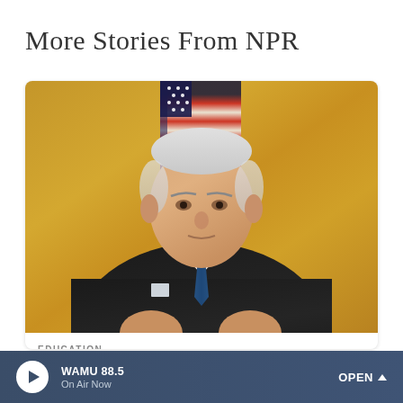More Stories From NPR
[Figure (photo): Photo of President Biden in a dark suit and blue tie, in front of an American flag and golden curtains]
EDUCATION
Biden is canceling up to $10K in student
WAMU 88.5 On Air Now OPEN ^